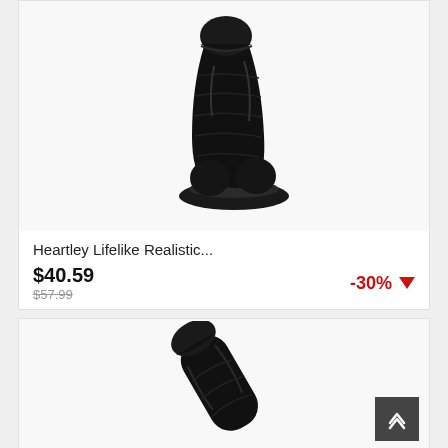[Figure (photo): Black realistic product shown upright with suction cup base, on white background]
Heartley Lifelike Realistic...
$40.59
$57.99
-30%
[Figure (photo): Black realistic product shown at angle, on white background, with scroll-to-top button overlay]